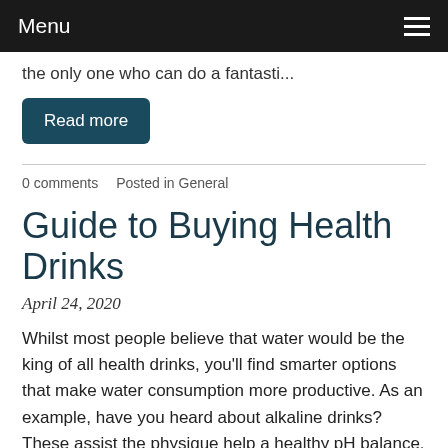Menu
the only one who can do a fantasti...
Read more
0 comments   Posted in General
Guide to Buying Health Drinks
April 24, 2020
Whilst most people believe that water would be the king of all health drinks, you'll find smarter options that make water consumption more productive. As an example, have you heard about alkaline drinks? These assist the physique help a healthy pH balance. While